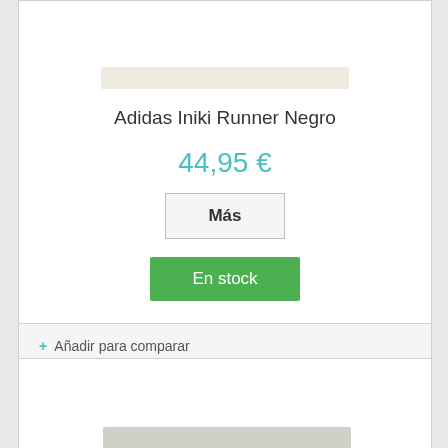[Figure (photo): Product image area showing Adidas Iniki Runner Negro shoe, cropped at top]
Adidas Iniki Runner Negro
44,95 €
Más
En stock
+ Añadir para comparar
[Figure (photo): Second product image area, partially visible at bottom of page]